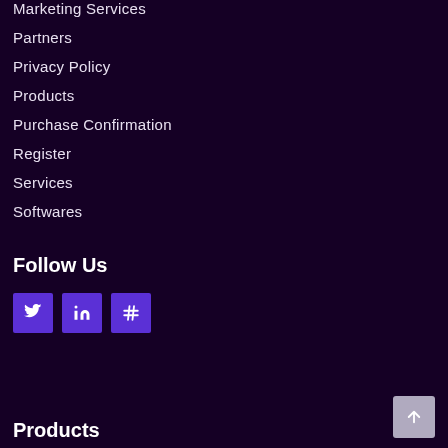Marketing Services
Partners
Privacy Policy
Products
Purchase Confirmation
Register
Services
Softwares
Follow Us
[Figure (infographic): Three social media icon buttons: Twitter (bird icon), LinkedIn (in icon), and a hashtag/pound icon, each on a purple square background.]
Products